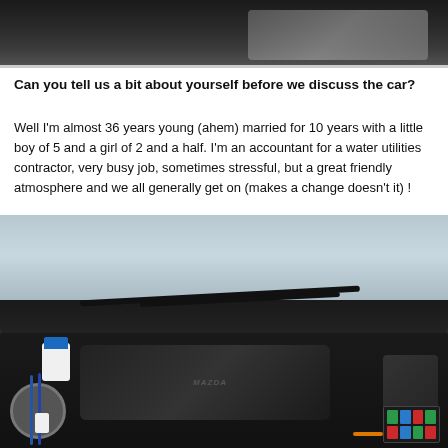[Figure (photo): Top portion of a car interior/exterior photo, showing dark area (car roof or hood area), partially cropped at the top of the page.]
Can you tell us a bit about yourself before we discuss the car?
Well I'm almost 36 years young (ahem) married for 10 years with a little boy of 5 and a girl of 2 and a half. I'm an accountant for a water utilities contractor, very busy job, sometimes stressful, but a great friendly atmosphere and we all generally get on (makes a change doesn't it) !
[Figure (photo): Photo of a car engine bay with hood open, showing the engine compartment with a blue-capped fluid reservoir on the left, various engine components, and the windshield/wiper assembly visible at the top. The car appears to be a Mazda or similar make.]